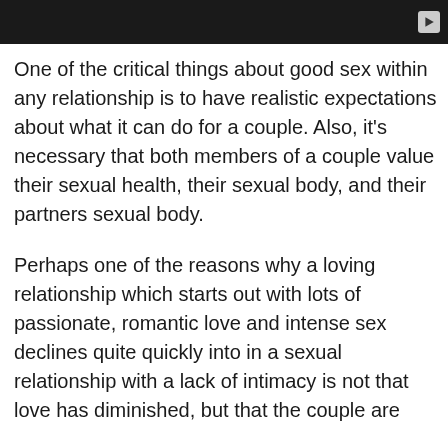[Figure (screenshot): Dark video player bar with play button in top right corner]
One of the critical things about good sex within any relationship is to have realistic expectations about what it can do for a couple. Also, it’s necessary that both members of a couple value their sexual health, their sexual body, and their partners sexual body.
Perhaps one of the reasons why a loving relationship which starts out with lots of passionate, romantic love and intense sex declines quite quickly into in a sexual relationship with a lack of intimacy is not that love has diminished, but that the couple are